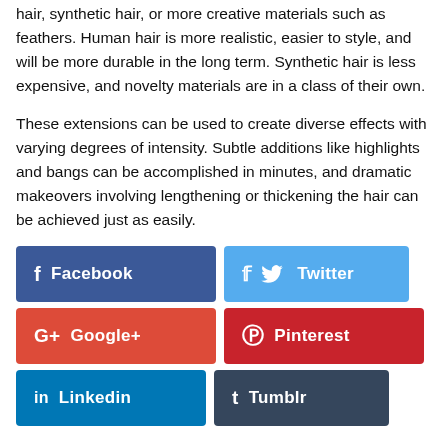hair, synthetic hair, or more creative materials such as feathers. Human hair is more realistic, easier to style, and will be more durable in the long term. Synthetic hair is less expensive, and novelty materials are in a class of their own.
These extensions can be used to create diverse effects with varying degrees of intensity. Subtle additions like highlights and bangs can be accomplished in minutes, and dramatic makeovers involving lengthening or thickening the hair can be achieved just as easily.
[Figure (other): Social media share buttons: Facebook, Twitter, Google+, Pinterest, Linkedin, Tumblr]